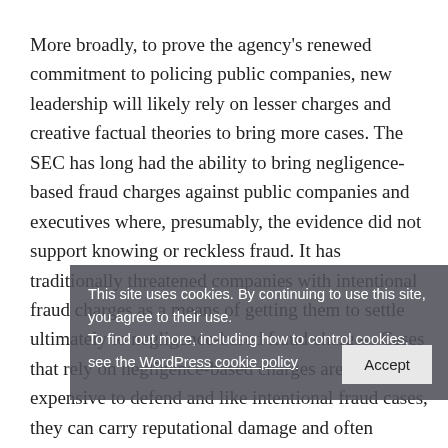More broadly, to prove the agency's renewed commitment to policing public companies, new leadership will likely rely on lesser charges and creative factual theories to bring more cases. The SEC has long had the ability to bring negligence-based fraud charges against public companies and executives where, presumably, the evidence did not support knowing or reckless fraud. It has traditionally threatened companies with intentional fraud charges as a means of getting them to settle ultimately to negligence-based fraud charges. Cases that rely on negligence-based charges are no less expensive to defend and like intentional fraud cases, they can carry reputational damage and often include significant monetary penalties. For
This site uses cookies. By continuing to use this site, you agree to their use. To find out more, including how to control cookies, see the WordPress cookie policy   Accept